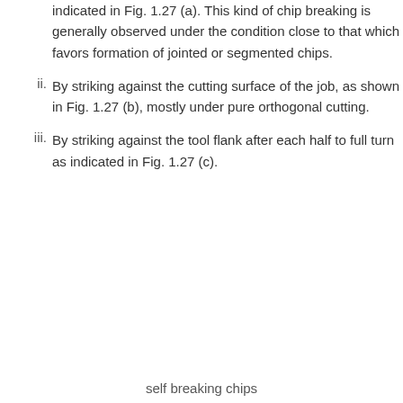indicated in Fig. 1.27 (a). This kind of chip breaking is generally observed under the condition close to that which favors formation of jointed or segmented chips.
ii. By striking against the cutting surface of the job, as shown in Fig. 1.27 (b), mostly under pure orthogonal cutting.
iii. By striking against the tool flank after each half to full turn as indicated in Fig. 1.27 (c).
self breaking chips